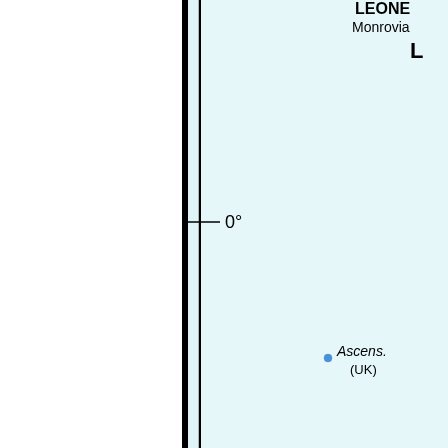[Figure (map): Partial map showing western Africa and Atlantic Ocean region. Light blue ocean/background. Black vertical border lines on the left side. Text labels visible: 'LEONE' (partially cut off at top right), 'Monrovia' below it, 'L' (partially cut off), '0°' latitude line marker on the left side of the map, and 'Ascens.' with '(UK)' below it near bottom right with a small blue dot marker.]